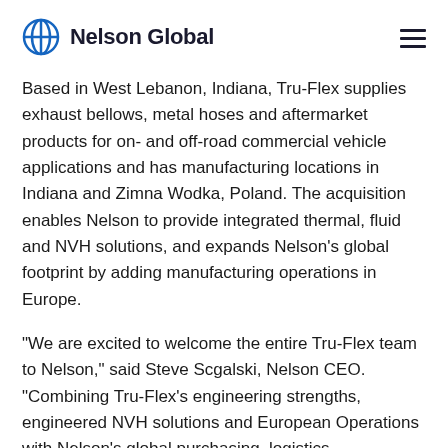Nelson Global
Based in West Lebanon, Indiana, Tru-Flex supplies exhaust bellows, metal hoses and aftermarket products for on- and off-road commercial vehicle applications and has manufacturing locations in Indiana and Zimna Wodka, Poland. The acquisition enables Nelson to provide integrated thermal, fluid and NVH solutions, and expands Nelson's global footprint by adding manufacturing operations in Europe.
“We are excited to welcome the entire Tru-Flex team to Nelson,” said Steve Scgalski, Nelson CEO. “Combining Tru-Flex’s engineering strengths, engineered NVH solutions and European Operations with Nelson’s global purchasing, logistics,